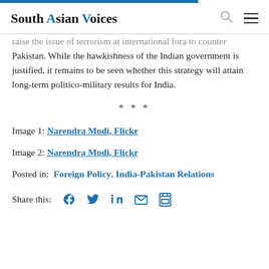South Asian Voices
raise the issue of terrorism at international fora to counter Pakistan. While the hawkishness of the Indian government is justified, it remains to be seen whether this strategy will attain long-term politico-military results for India.
***
Image 1: Narendra Modi, Flickr
Image 2: Narendra Modi, Flickr
Posted in:  Foreign Policy, India-Pakistan Relations
Share this: [Facebook] [Twitter] [LinkedIn] [Email] [Print]